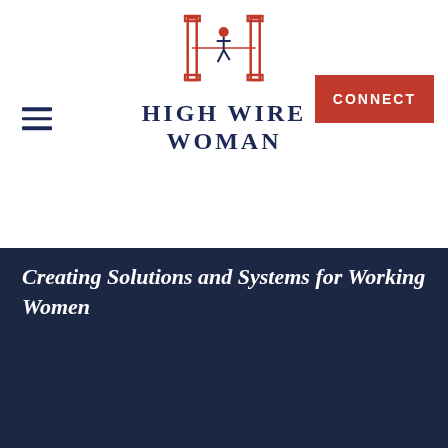[Figure (logo): High Wire Woman logo with stylized woman figure between two pillars and bold text HIGH WIRE WOMAN]
Creating Solutions and Systems for Working Women